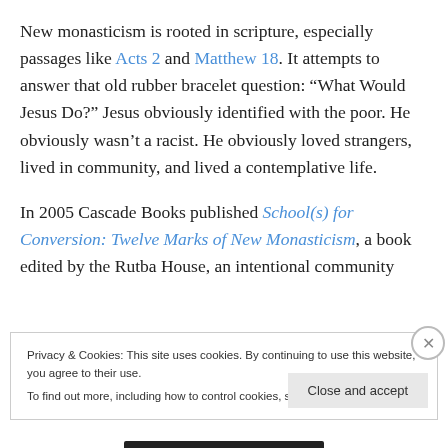New monasticism is rooted in scripture, especially passages like Acts 2 and Matthew 18. It attempts to answer that old rubber bracelet question: “What Would Jesus Do?” Jesus obviously identified with the poor. He obviously wasn’t a racist. He obviously loved strangers, lived in community, and lived a contemplative life.
In 2005 Cascade Books published School(s) for Conversion: Twelve Marks of New Monasticism, a book edited by the Rutba House, an intentional community founded by Wilson-Hartgrove and his wife during the...
Privacy & Cookies: This site uses cookies. By continuing to use this website, you agree to their use.
To find out more, including how to control cookies, see here: Cookie Policy
Close and accept